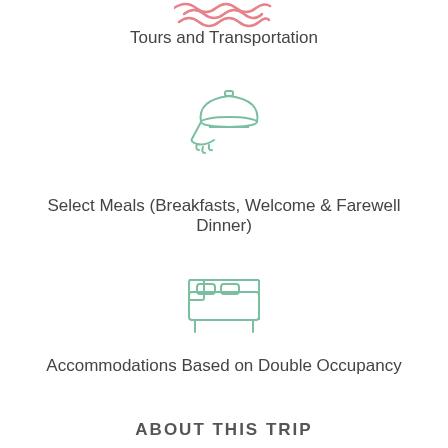[Figure (illustration): Pink/salmon colored wavy water/waves icon at the top]
Tours and Transportation
[Figure (illustration): Green outlined room service cloche/dome with hand icon]
Select Meals (Breakfasts, Welcome & Farewell Dinner)
[Figure (illustration): Green outlined bed/hotel room icon]
Accommodations Based on Double Occupancy
ABOUT THIS TRIP